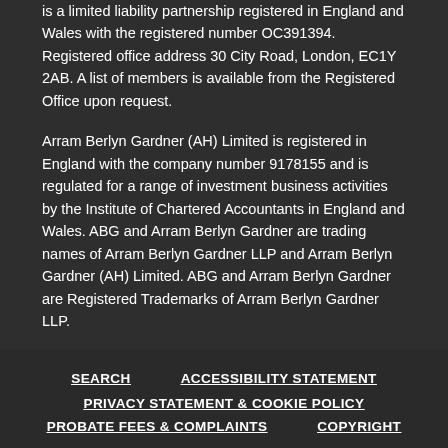is a limited liability partnership registered in England and Wales with the registered number OC391394. Registered office address 30 City Road, London, EC1Y 2AB. A list of members is available from the Registered Office upon request.
Arram Berlyn Gardner (AH) Limited is registered in England with the company number 9178155 and is regulated for a range of investment business activities by the Institute of Chartered Accountants in England and Wales. ABG and Arram Berlyn Gardner are trading names of Arram Berlyn Gardner LLP and Arram Berlyn Gardner (AH) Limited. ABG and Arram Berlyn Gardner are Registered Trademarks of Arram Berlyn Gardner LLP.
SEARCH | ACCESSIBILITY STATEMENT | PRIVACY STATEMENT & COOKIE POLICY | PROBATE FEES & COMPLAINTS | COPYRIGHT